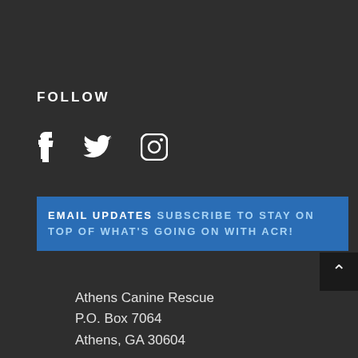FOLLOW
[Figure (illustration): Social media icons: Facebook (f), Twitter (bird), Instagram (camera)]
EMAIL UPDATES SUBSCRIBE TO STAY ON TOP OF WHAT'S GOING ON WITH ACR!
Athens Canine Rescue
P.O. Box 7064
Athens, GA 30604